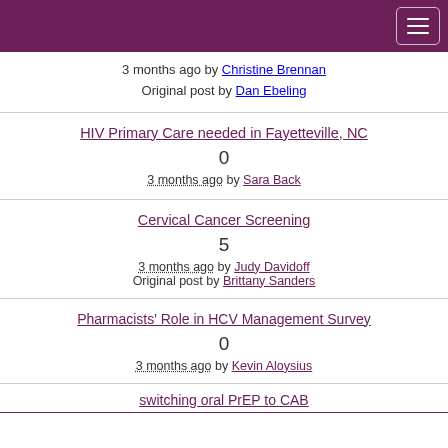3 months ago by Christine Brennan
Original post by Dan Ebeling
HIV Primary Care needed in Fayetteville, NC
0
3 months ago by Sara Back
Cervical Cancer Screening
5
3 months ago by Judy Davidoff
Original post by Brittany Sanders
Pharmacists' Role in HCV Management Survey
0
3 months ago by Kevin Aloysius
switching oral PrEP to CAB